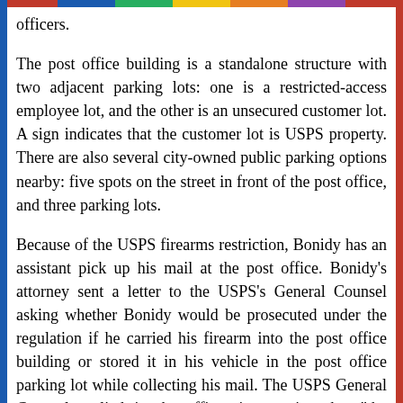officers.
The post office building is a standalone structure with two adjacent parking lots: one is a restricted-access employee lot, and the other is an unsecured customer lot. A sign indicates that the customer lot is USPS property. There are also several city-owned public parking options nearby: five spots on the street in front of the post office, and three parking lots.
Because of the USPS firearms restriction, Bonidy has an assistant pick up his mail at the post office. Bonidy's attorney sent a letter to the USPS's General Counsel asking whether Bonidy would be prosecuted under the regulation if he carried his firearm into the post office building or stored it in his vehicle in the post office parking lot while collecting his mail. The USPS General Counsel replied in the affirmative, stating that "the regulations governing Conduct on Postal